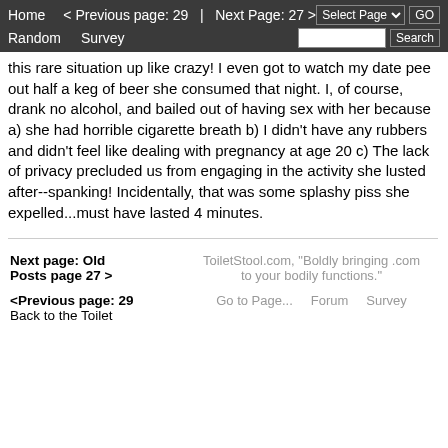Home  < Previous page: 29  |  Next Page: 27 >  Random  Survey  Select Page  GO  Search
this rare situation up like crazy! I even got to watch my date pee out half a keg of beer she consumed that night. I, of course, drank no alcohol, and bailed out of having sex with her because a) she had horrible cigarette breath b) I didn't have any rubbers and didn't feel like dealing with pregnancy at age 20 c) The lack of privacy precluded us from engaging in the activity she lusted after--spanking! Incidentally, that was some splashy piss she expelled...must have lasted 4 minutes.
Next page: Old Posts page 27 >  <Previous page: 29  Back to the Toilet  ToiletStool.com, "Boldly bringing .com to your bodily functions."  Go to Page...  Forum  Survey